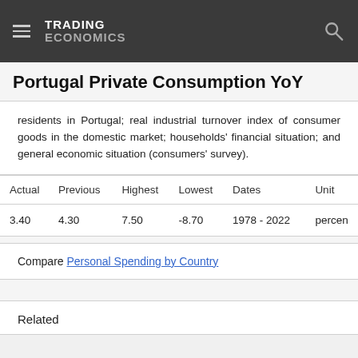TRADING ECONOMICS
Portugal Private Consumption YoY
residents in Portugal; real industrial turnover index of consumer goods in the domestic market; households' financial situation; and general economic situation (consumers' survey).
| Actual | Previous | Highest | Lowest | Dates | Unit |
| --- | --- | --- | --- | --- | --- |
| 3.40 | 4.30 | 7.50 | -8.70 | 1978 - 2022 | percent |
Compare Personal Spending by Country
Related